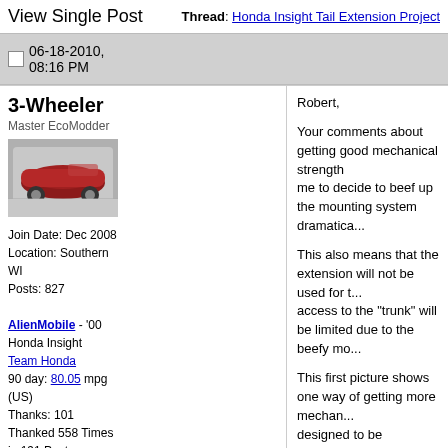View Single Post | Thread: Honda Insight Tail Extension Project
06-18-2010, 08:16 PM
3-Wheeler
Master EcoModder
[Figure (photo): Avatar photo of a red streamlined car]
Join Date: Dec 2008
Location: Southern WI
Posts: 827

AlienMobile - '00 Honda Insight
Team Honda
90 day: 80.05 mpg (US)
Thanks: 101
Thanked 558 Times in 191 Posts
Robert,

Your comments about getting good mechanical strength... me to decide to beef up the mounting system dramatically.

This also means that the extension will not be used for t... access to the "trunk" will be limited due to the beefy mo...

This first picture shows one way of getting more mechanical... designed to be lightweight, and this also applies the she...

Unfortunately, this also means that attempting to mount... possible trouble if not done carefully.

The panels are thin enough that they easily "oil-can" wh... any place there are transitions in the sheet metal, the rib... location. We have to utilize this feature when mounting s...

To this end, the back of the Insight is going to be beefed... tail extension.
This image has been resized. Click this bar to view the full image. T
[Figure (photo): Dark image partially visible at bottom of post]